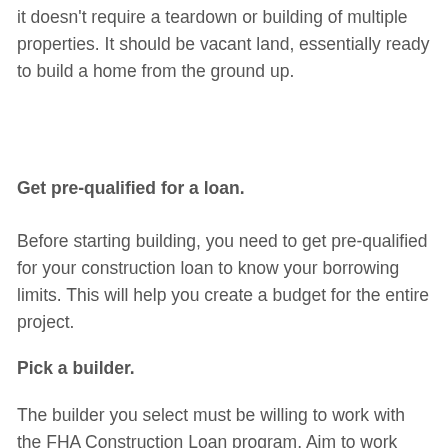it doesn't require a teardown or building of multiple properties. It should be vacant land, essentially ready to build a home from the ground up.
Get pre-qualified for a loan.
Before starting building, you need to get pre-qualified for your construction loan to know your borrowing limits. This will help you create a budget for the entire project.
Pick a builder.
The builder you select must be willing to work with the FHA Construction Loan program. Aim to work